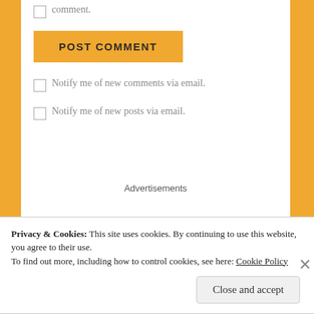☐ comment.
POST COMMENT
☐ Notify me of new comments via email.
☐ Notify me of new posts via email.
Advertisements
Privacy & Cookies: This site uses cookies. By continuing to use this website, you agree to their use.
To find out more, including how to control cookies, see here: Cookie Policy
Close and accept